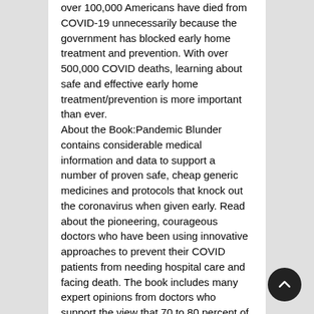over 100,000 Americans have died from COVID-19 unnecessarily because the government has blocked early home treatment and prevention. With over 500,000 COVID deaths, learning about safe and effective early home treatment/prevention is more important than ever. About the Book:Pandemic Blunder contains considerable medical information and data to support a number of proven safe, cheap generic medicines and protocols that knock out the coronavirus when given early. Read about the pioneering, courageous doctors who have been using innovative approaches to prevent their COVID patients from needing hospital care and facing death. The book includes many expert opinions from doctors who support the view that 70 to 80 percent of COVID deaths could have been prevented—and still can be. Don't be victimized by disinformation and propaganda. Learn how corrupt forces are aiming to make billions of dollars from expensive medicines and vaccines, and how hundreds of thousands of deaths could have —and should have—been prevented!